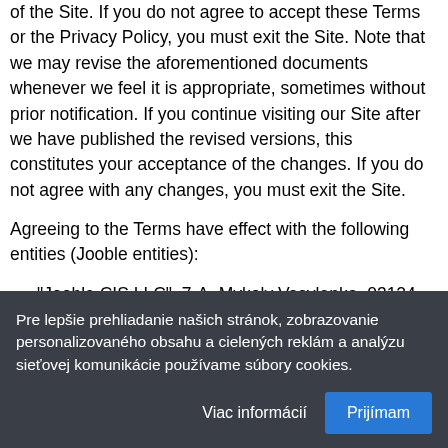of the Site. If you do not agree to accept these Terms or the Privacy Policy, you must exit the Site. Note that we may revise the aforementioned documents whenever we feel it is appropriate, sometimes without prior notification. If you continue visiting our Site after we have published the revised versions, this constitutes your acceptance of the changes. If you do not agree with any changes, you must exit the Site.
Agreeing to the Terms have effect with the following entities (Jooble entities):
“Jooble CIS LLC”, 7-A, Mykoly Vasylenka, 03124, Kyiv, Ukraine
“Ladoburn Europe Ltd”, Arch. Makariou III, 205 VICTORY HOUSE,Office 212, Limassol, 3030,
Pre lepšie prehliadanie našich stránok, zobrazovanie personalizovaného obsahu a cieLených reklám a analýzu sieťovej komunikácie používame súbory cookies.